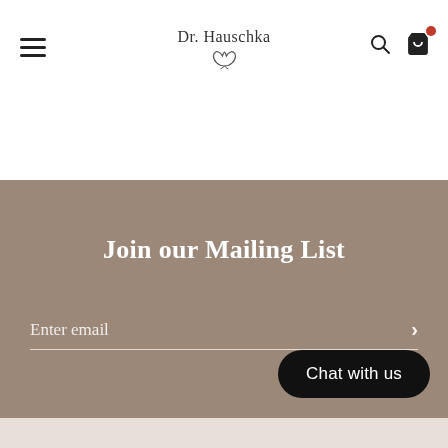Dr. Hauschka
Join our Mailing List
Enter email
Chat with us